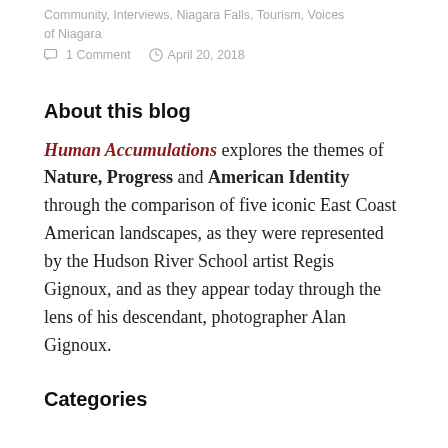Community, Interviews, Niagara Falls, Tourism, Voices of Niagara
1 Comment   April 20, 2018
About this blog
Human Accumulations explores the themes of Nature, Progress and American Identity through the comparison of five iconic East Coast American landscapes, as they were represented by the Hudson River School artist Regis Gignoux, and as they appear today through the lens of his descendant, photographer Alan Gignoux.
Categories